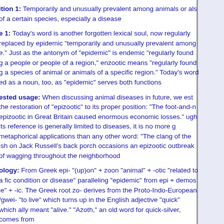ition 1: Temporarily and unusually prevalent among animals or als of a certain species, especially a disease
e 1: Today's word is another forgotten lexical soul, now regularly replaced by epidemic "temporarily and unusually prevalent among e." Just as the antonym of "epidemic" is endemic "regularly found g a people or people of a region," enzootic means "regularly found g a species of animal or animals of a specific region." Today's word ed as a noun, too, as "epidemic" serves both functions
ested usage: When discussing animal diseases in future, we est the restoration of "epizootic" to its proper position: "The foot-and-n epizootic in Great Britain caused enormous economic losses." ugh its reference is generally limited to diseases, it is no more g metaphorical applications than any other word: "The clang of the ish on Jack Russell's back porch occasions an epizootic outbreak of wagging throughout the neighborhood
ology: From Greek epi- "(up)on" + zoon "animal" + -otic "related to a fic condition or disease" paralleling "epidemic" from epi + demos le" + -ic. The Greek root zo- derives from the Proto-Indo-European /gwei- "to live" which turns up in the English adjective "quick" which ally meant "alive." "Azoth," an old word for quick-silver, comes from